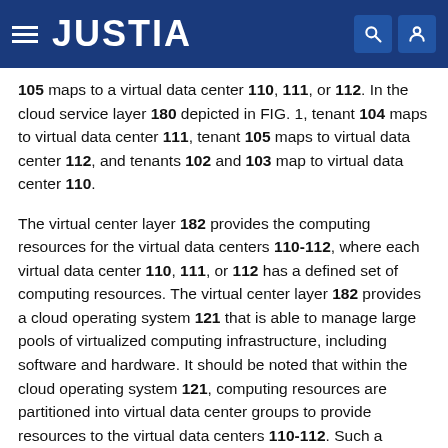JUSTIA
105 maps to a virtual data center 110, 111, or 112. In the cloud service layer 180 depicted in FIG. 1, tenant 104 maps to virtual data center 111, tenant 105 maps to virtual data center 112, and tenants 102 and 103 map to virtual data center 110.
The virtual center layer 182 provides the computing resources for the virtual data centers 110-112, where each virtual data center 110, 111, or 112 has a defined set of computing resources. The virtual center layer 182 provides a cloud operating system 121 that is able to manage large pools of virtualized computing infrastructure, including software and hardware. It should be noted that within the cloud operating system 121, computing resources are partitioned into virtual data center groups to provide resources to the virtual data centers 110-112. Such a separation of tenants and